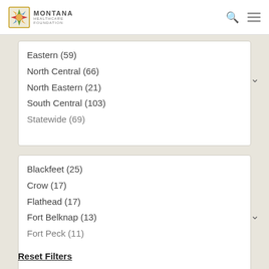Montana Healthcare Foundation
Eastern  (59)
North Central  (66)
North Eastern  (21)
South Central  (103)
Statewide  (69)
Blackfeet  (25)
Crow  (17)
Flathead  (17)
Fort Belknap  (13)
Fort Peck  (11)
Submit
Reset Filters